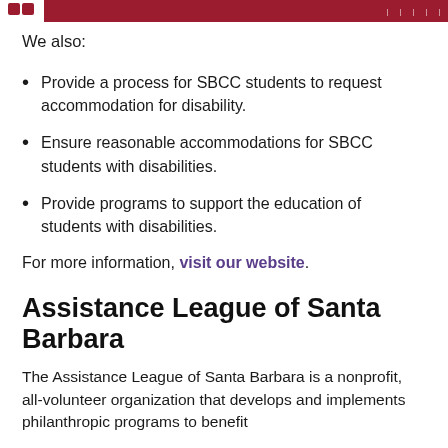We also:
Provide a process for SBCC students to request accommodation for disability.
Ensure reasonable accommodations for SBCC students with disabilities.
Provide programs to support the education of students with disabilities.
For more information, visit our website.
Assistance League of Santa Barbara
The Assistance League of Santa Barbara is a nonprofit, all-volunteer organization that develops and implements philanthropic programs to benefit